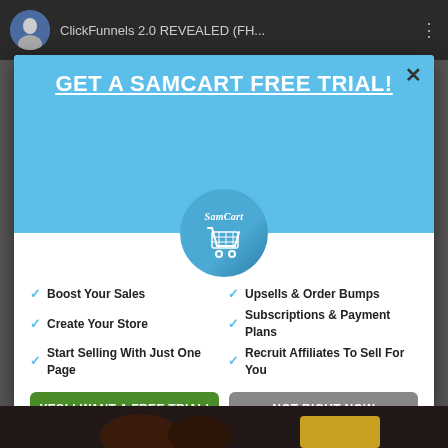[Figure (screenshot): Top dark video bar with avatar, ClickFunnels 2.0 REVEALED (FH... title text]
GET A SAMCART FREE TRIAL!
[Figure (logo): SamCart circular logo with shopping cart icon]
Boost Your Sales
Upsells & Order Bumps
Create Your Store
Subscriptions & Payment Plans
Start Selling With Just One Page
Recruit Affiliates To Sell For You
YES! I WANT A FREE TRIAL!
(I'm Ready To Get More Sales)
NOT RIGHT NOW
(Learn More From SamCart First!)
[Figure (screenshot): Bottom dark area partial video frame]